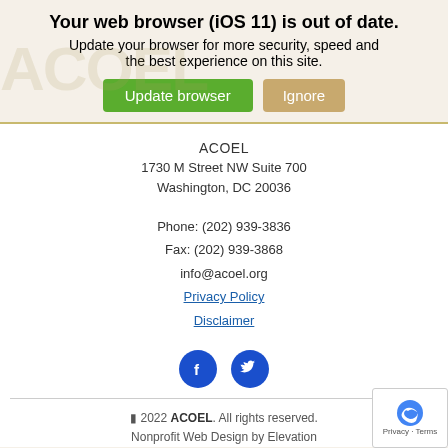Your web browser (iOS 11) is out of date. Update your browser for more security, speed and the best experience on this site.
[Figure (screenshot): Two buttons: green 'Update browser' and tan 'Ignore']
ACOEL
1730 M Street NW Suite 700
Washington, DC 20036
Phone: (202) 939-3836
Fax: (202) 939-3868
info@acoel.org
Privacy Policy
Disclaimer
[Figure (infographic): Facebook and Twitter social media icon circles in blue]
© 2022 ACOEL. All rights reserved.
Nonprofit Web Design by Elevation